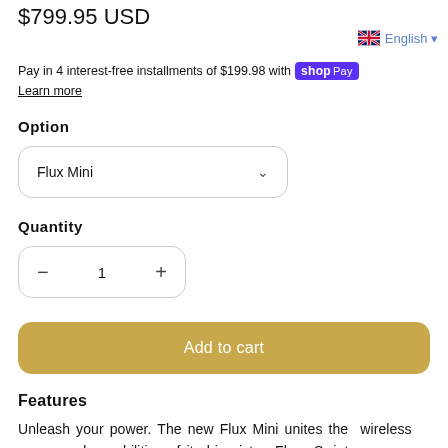$799.95 USD
English
Pay in 4 interest-free installments of $199.98 with Shop Pay
Learn more
Option
Flux Mini
Quantity
1
Add to cart
Features
Unleash your power. The new Flux Mini unites the wireless power and capabilities of its big sister, Flux S, into a